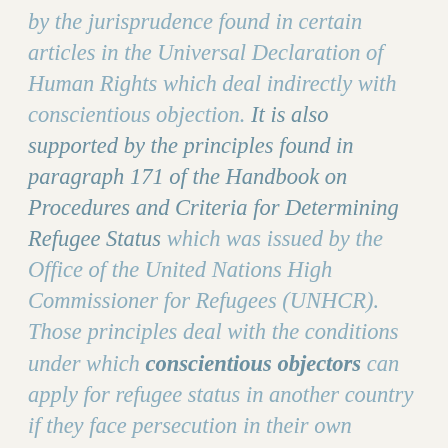by the jurisprudence found in certain articles in the Universal Declaration of Human Rights which deal indirectly with conscientious objection. It is also supported by the principles found in paragraph 171 of the Handbook on Procedures and Criteria for Determining Refugee Status which was issued by the Office of the United Nations High Commissioner for Refugees (UNHCR). Those principles deal with the conditions under which conscientious objectors can apply for refugee status in another country if they face persecution in their own country for refusing to participate in an illegal